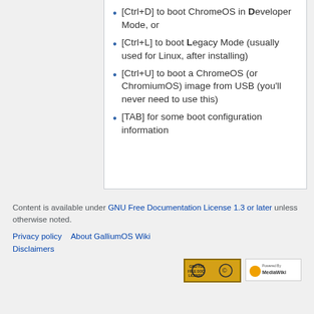[Ctrl+D] to boot ChromeOS in Developer Mode, or
[Ctrl+L] to boot Legacy Mode (usually used for Linux, after installing)
[Ctrl+U] to boot a ChromeOS (or ChromiumOS) image from USB (you'll never need to use this)
[TAB] for some boot configuration information
Content is available under GNU Free Documentation License 1.3 or later unless otherwise noted.
Privacy policy   About GalliumOS Wiki
Disclaimers